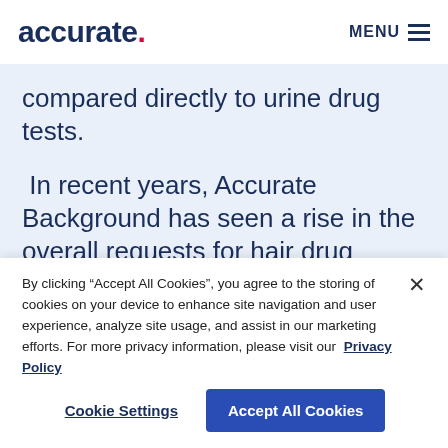accurate. MENU
compared directly to urine drug tests.
In recent years, Accurate Background has seen a rise in the overall requests for hair drug testing.
Window of Detection: Up to 90 days
By clicking “Accept All Cookies”, you agree to the storing of cookies on your device to enhance site navigation and user experience, analyze site usage, and assist in our marketing efforts. For more privacy information, please visit our Privacy Policy
Cookie Settings
Accept All Cookies